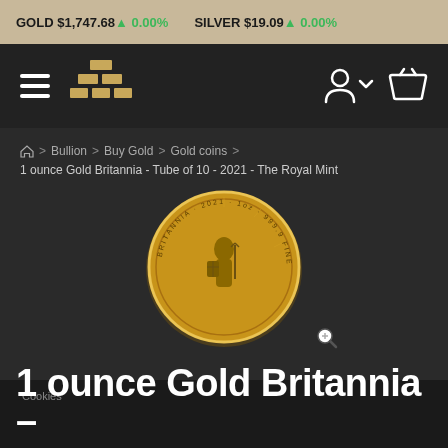GOLD $1,747.68 ↑ 0.00%   SILVER $19.09 ↑ 0.00%
[Figure (screenshot): Navigation bar with hamburger menu, gold bars logo icon, user account icon with dropdown chevron, and shopping basket icon on dark background]
⌂ > Bullion > Buy Gold > Gold coins >
1 ounce Gold Britannia - Tube of 10 - 2021 - The Royal Mint
[Figure (photo): Gold Britannia coin showing Britannia figure with shield and trident, inscribed BRITANNIA 2021 1oz 999.9 FINE GOLD, with zoom/magnify icon in bottom right]
Cookies
1 ounce Gold Britannia -